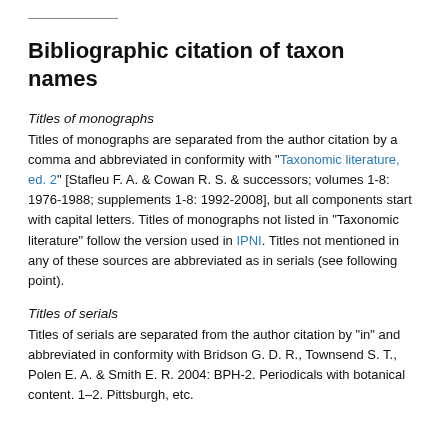Titles of monographs
Titles of monographs are separated from the author citation by a comma and abbreviated in conformity with "Taxonomic literature, ed. 2" [Stafleu F. A. & Cowan R. S. & successors; volumes 1-8: 1976-1988; supplements 1-8: 1992-2008], but all components start with capital letters. Titles of monographs not listed in "Taxonomic literature" follow the version used in IPNI. Titles not mentioned in any of these sources are abbreviated as in serials (see following point).
Titles of serials
Titles of serials are separated from the author citation by "in" and abbreviated in conformity with Bridson G. D. R., Townsend S. T., Polen E. A. & Smith E. R. 2004: BPH-2. Periodicals with botanical content. 1–2. Pittsburgh, etc.